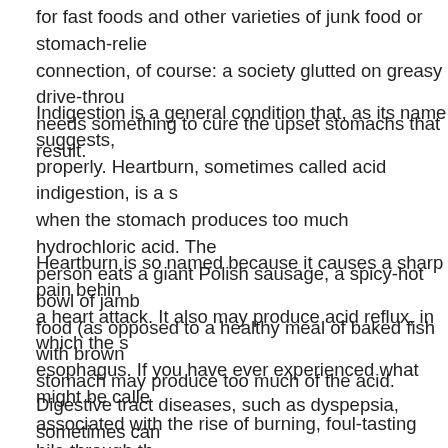for fast foods and other varieties of junk food or stomach-relief connection, of course: a society glutted on greasy drive-through needs something to cure the upset stomachs that result.
Indigestion is a general condition that, as its name suggests, properly. Heartburn, sometimes called acid indigestion, is a s when the stomach produces too much hydrochloric acid. The person eats a giant Polish sausage, a spicy-hot bowl of jamba food (as opposed to a healthy meal of baked fish with brown stomach may produce too much of the acid.
Heartburn is so named because it causes a sharp pain behin a heart attack. It also may produce acid reflux, in which the s esophagus. If you have ever experienced what might be calle associated with the rise of burning, foul-tasting bile through th knowledge of acid reflux and heartburn.
Digestive tract diseases, such as dyspepsia, sometimes can often than not, people experience indigestion as a result of ea